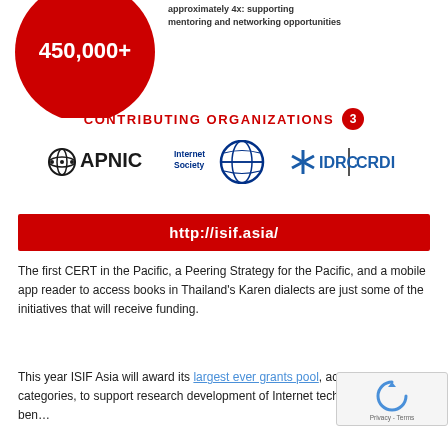[Figure (infographic): Red circle with '450,000+' text, and text about mentoring and networking opportunities]
CONTRIBUTING ORGANIZATIONS 3
[Figure (logo): APNIC, Internet Society, and IDRC CRDI logos]
http://isif.asia/
The first CERT in the Pacific, a Peering Strategy for the Pacific, and a mobile app reader to access books in Thailand's Karen dialects are just some of the initiatives that will receive funding.
This year ISIF Asia will award its largest ever grants pool, across four categories, to support research development of Internet technologies for the benefit of the Asia Pacific.